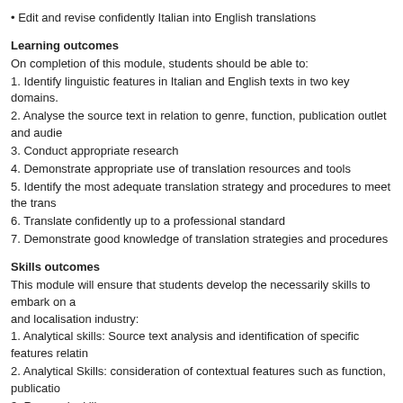• Edit and revise confidently Italian into English translations
Learning outcomes
On completion of this module, students should be able to:
1. Identify linguistic features in Italian and English texts in two key domains.
2. Analyse the source text in relation to genre, function, publication outlet and audie
3. Conduct appropriate research
4. Demonstrate appropriate use of translation resources and tools
5. Identify the most adequate translation strategy and procedures to meet the trans
6. Translate confidently up to a professional standard
7. Demonstrate good knowledge of translation strategies and procedures
Skills outcomes
This module will ensure that students develop the necessarily skills to embark on a and localisation industry:
1. Analytical skills: Source text analysis and identification of specific features relatin
2. Analytical Skills: consideration of contextual features such as function, publicatio
3. Research skills
4. Translation skills: identification and use of the most adequate translation strategy
5. Technical skills: appropriate use of translation resources and tools
6. Revision and post-editing skills
Syllabus